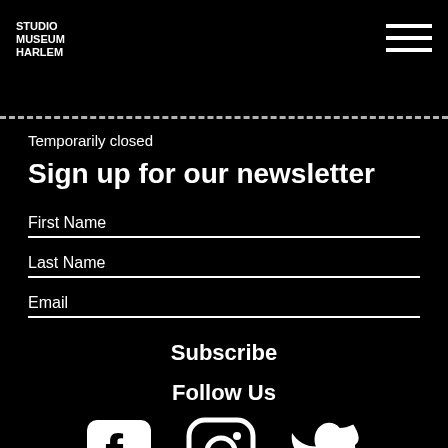Studio Museum Harlem
Temporarily closed
Sign up for our newsletter
First Name
Last Name
Email
Subscribe
Follow Us
[Figure (illustration): Social media icons: Facebook, Instagram, Twitter]